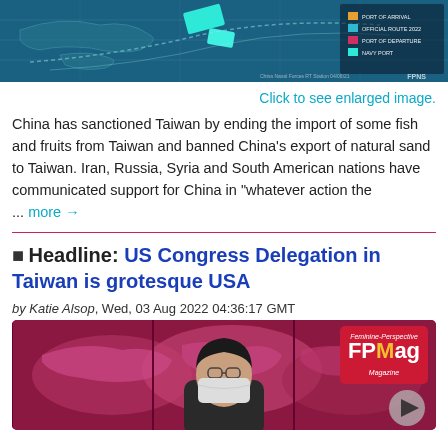[Figure (map): Map image showing geographic region with teal shapes and legend on right side]
Click to see enlarged image.
China has sanctioned Taiwan by ending the import of some fish and fruits from Taiwan and banned China's export of natural sand to Taiwan. Iran, Russia, Syria and South American nations have communicated support for China in "whatever action the ... more →
🟦 Headline: US Congress Delegation in Taiwan is grotesque USA
by Katie Alsop, Wed, 03 Aug 2022 04:36:17 GMT
[Figure (photo): Photo of a person wearing a face mask with a world map background. FPMag logo badge in top right corner. Play button icon in bottom right.]